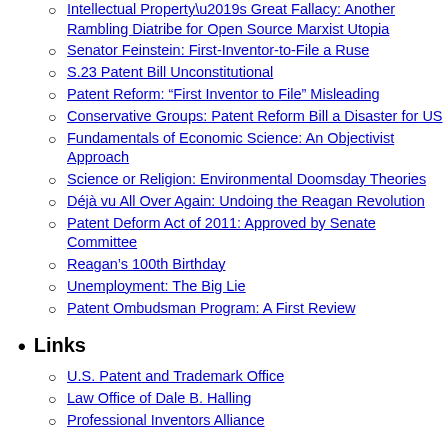Intellectual Property’s Great Fallacy: Another Rambling Diatribe for Open Source Marxist Utopia
Senator Feinstein: First-Inventor-to-File a Ruse
S.23 Patent Bill Unconstitutional
Patent Reform: “First Inventor to File” Misleading
Conservative Groups: Patent Reform Bill a Disaster for US
Fundamentals of Economic Science: An Objectivist Approach
Science or Religion: Environmental Doomsday Theories
Déjà vu All Over Again: Undoing the Reagan Revolution
Patent Deform Act of 2011: Approved by Senate Committee
Reagan’s 100th Birthday
Unemployment: The Big Lie
Patent Ombudsman Program: A First Review
Links
U.S. Patent and Trademark Office
Law Office of Dale B. Halling
Professional Inventors Alliance